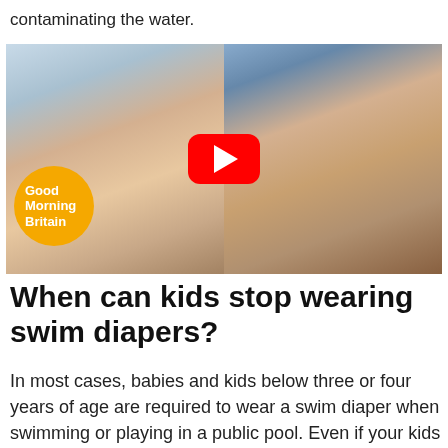contaminating the water.
[Figure (photo): YouTube video thumbnail showing two women side-by-side: a blonde woman on the left and a dark-haired woman on the right, with a red YouTube play button in the center and a 'Good Morning Britain' orange badge in the lower-left corner.]
When can kids stop wearing swim diapers?
In most cases, babies and kids below three or four years of age are required to wear a swim diaper when swimming or playing in a public pool. Even if your kids are potty